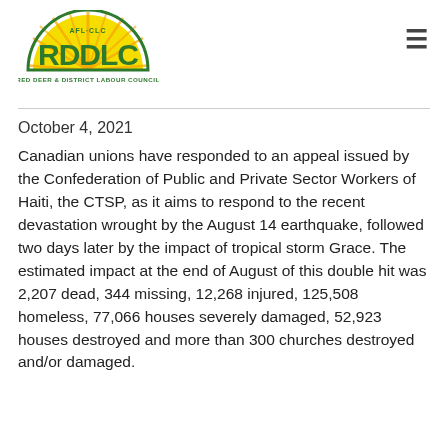[Figure (logo): AFL-CLC RDDLC Red Deer & District Labour Council logo with green text and yellow sunburst semicircle]
October 4, 2021
Canadian unions have responded to an appeal issued by the Confederation of Public and Private Sector Workers of Haiti, the CTSP, as it aims to respond to the recent devastation wrought by the August 14 earthquake, followed two days later by the impact of tropical storm Grace. The estimated impact at the end of August of this double hit was 2,207 dead, 344 missing, 12,268 injured, 125,508 homeless, 77,066 houses severely damaged, 52,923 houses destroyed and more than 300 churches destroyed and/or damaged.